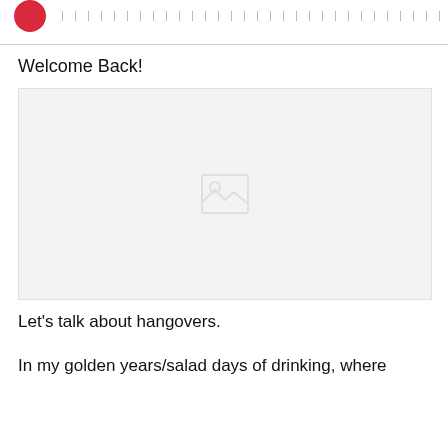[Figure (logo): Red circular logo in top left corner, followed by navigation tick marks across the top header bar]
Welcome Back!
[Figure (photo): Large light gray image placeholder box with a faint image icon in the center]
Let's talk about hangovers.
In my golden years/salad days of drinking, where